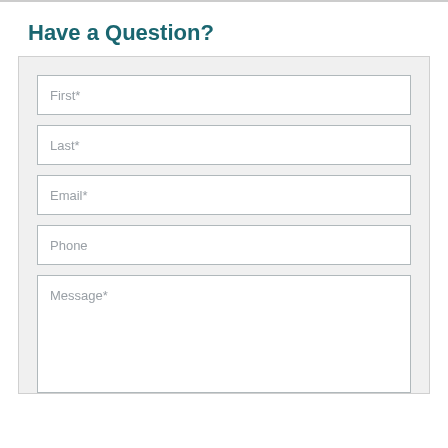Have a Question?
First*
Last*
Email*
Phone
Message*